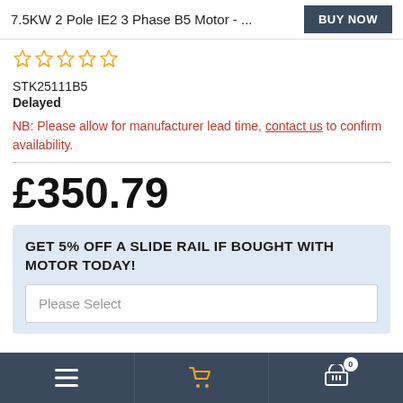7.5KW 2 Pole IE2 3 Phase B5 Motor - ... BUY NOW
[Figure (other): Five star rating icons in orange/gold outline style]
STK25111B5
Delayed
NB: Please allow for manufacturer lead time, contact us to confirm availability.
£350.79
GET 5% OFF A SLIDE RAIL IF BOUGHT WITH MOTOR TODAY!
Please Select
≡  🛒  🛒 0